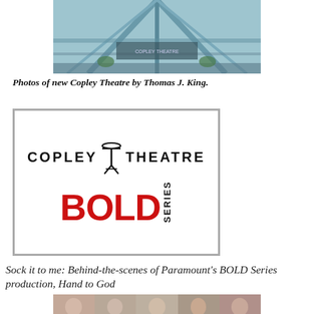[Figure (photo): Exterior or interior photo of the new Copley Theatre building, showing a modern architectural space with glass and structural elements.]
Photos of new Copley Theatre by Thomas J. King.
[Figure (logo): Copley Theatre BOLD Series logo. Features 'COPLEY THEATRE' in bold sans-serif with a bar stool icon, and 'BOLD SERIES' below in large red letters with 'SERIES' rotated vertically.]
Sock it to me: Behind-the-scenes of Paramount's BOLD Series production, Hand to God
[Figure (photo): Strip of cast headshot photos showing five actors from the production.]